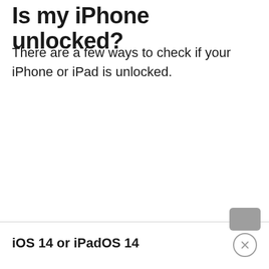Is my iPhone unlocked?
There are a few ways to check if your iPhone or iPad is unlocked.
iOS 14 or iPadOS 14